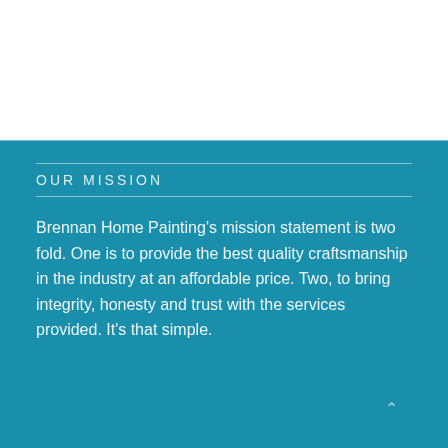OUR MISSION
Brennan Home Painting's mission statement is two fold. One is to provide the best quality craftsmanship in the industry at an affordable price. Two, to bring integrity, honesty and trust with the services provided. It's that simple.